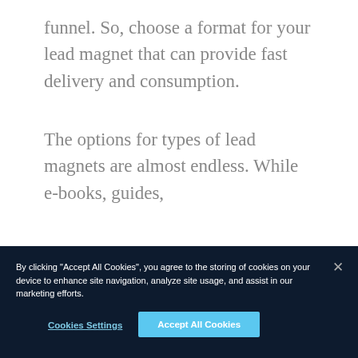funnel. So, choose a format for your lead magnet that can provide fast delivery and consumption.
The options for types of lead magnets are almost endless. While e-books, guides,
By clicking "Accept All Cookies", you agree to the storing of cookies on your device to enhance site navigation, analyze site usage, and assist in our marketing efforts.
Cookies Settings
Accept All Cookies